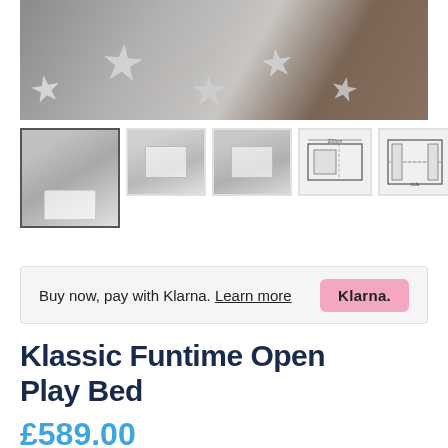[Figure (photo): Large product photo showing a grey star-patterned rug on wooden floor, with white bunk/play bed partially visible]
[Figure (photo): Thumbnail 1: White play bed in a child's room with star rug, selected/active thumbnail]
[Figure (photo): Thumbnail 2: White bunk bed with wardrobe in a room]
[Figure (photo): Thumbnail 3: White play bed with drawers, front view]
[Figure (engineering-diagram): Technical dimension diagram of the bed, top view]
[Figure (engineering-diagram): Technical dimension diagram of the bed, side view]
Buy now, pay with Klarna. Learn more  Klarna.
Klassic Funtime Open Play Bed
£589.00
Add to wishlist